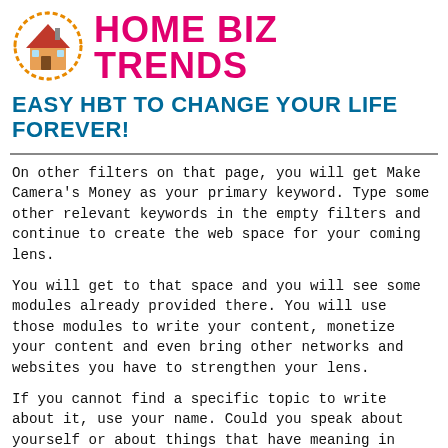[Figure (logo): Home Biz Trends logo: a house illustration inside an orange dashed circle]
HOME BIZ TRENDS
EASY HBT TO CHANGE YOUR LIFE FOREVER!
On other filters on that page, you will get Make Camera's Money as your primary keyword. Type some other relevant keywords in the empty filters and continue to create the web space for your coming lens.
You will get to that space and you will see some modules already provided there. You will use those modules to write your content, monetize your content and even bring other networks and websites you have to strengthen your lens.
If you cannot find a specific topic to write about it, use your name. Could you speak about yourself or about things that have meaning in your life, or things that make you happy? All